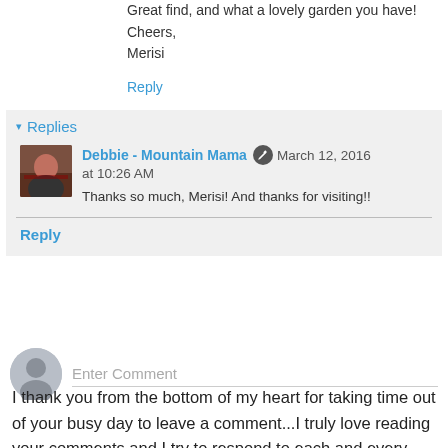Great find, and what a lovely garden you have!
Cheers,
Merisi
Reply
▾ Replies
Debbie - Mountain Mama  March 12, 2016 at 10:26 AM
Thanks so much, Merisi! And thanks for visiting!!
Reply
Enter Comment
I thank you from the bottom of my heart for taking time out of your busy day to leave a comment...I truly love reading your comments and I try to respond to each and every one of your sweet